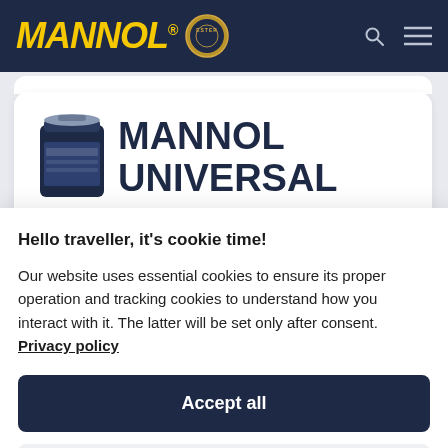[Figure (logo): MANNOL logo in yellow italic bold font with registered trademark symbol, and ESTER circular badge emblem, on dark navy navigation bar]
MANNOL UNIVERSAL
Hello traveller, it's cookie time!
Our website uses essential cookies to ensure its proper operation and tracking cookies to understand how you interact with it. The latter will be set only after consent. Privacy policy
Accept all
Preferences